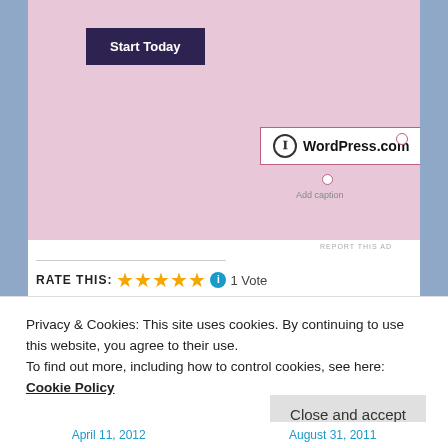[Figure (screenshot): WordPress.com advertisement banner with pink background, 'Start Today' dark button, and WordPress.com badge with logo]
REPORT THIS AD
RATE THIS: ★★★★★ ℹ 1 Vote
SHARE THIS:
[Figure (illustration): Social sharing icons: Twitter (blue bird), Facebook (blue f), Email (envelope), Print (printer)]
[Figure (illustration): Like button and blogger avatar row showing 8 profile photos]
14 bloggers like this.
Privacy & Cookies: This site uses cookies. By continuing to use this website, you agree to their use.
To find out more, including how to control cookies, see here: Cookie Policy
Close and accept
April 11, 2012    August 31, 2011